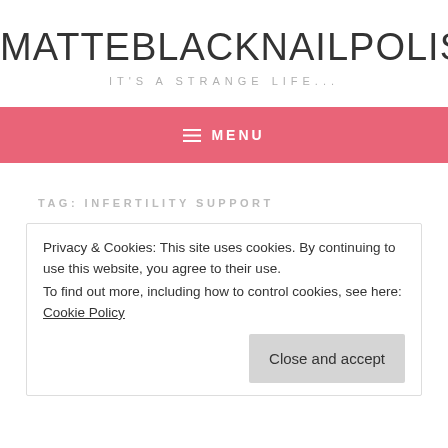MATTEBLACKNAILPOLISH.NET
IT'S A STRANGE LIFE...
≡ MENU
TAG: INFERTILITY SUPPORT
Privacy & Cookies: This site uses cookies. By continuing to use this website, you agree to their use.
To find out more, including how to control cookies, see here: Cookie Policy
Close and accept